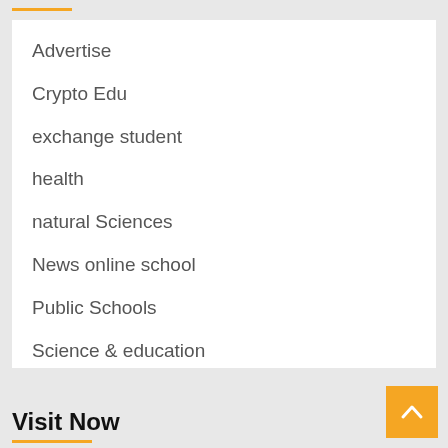Advertise
Crypto Edu
exchange student
health
natural Sciences
News online school
Public Schools
Science & education
social Sciences
Visit Now